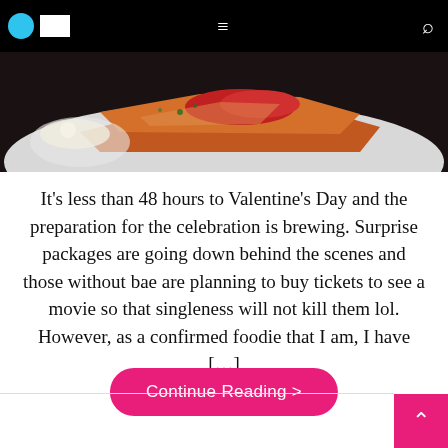Navigation bar with logo, hamburger menu, and search icon
[Figure (photo): Close-up photo of a food dish on a white plate, showing what appears to be salmon or fish with tomato sauce and herbs, set against a dark background]
It’s less than 48 hours to Valentine’s Day and the preparation for the celebration is brewing. Surprise packages are going down behind the scenes and those without bae are planning to buy tickets to see a movie so that singleness will not kill them lol. However, as a confirmed foodie that I am, I have […]
Continue Reading >